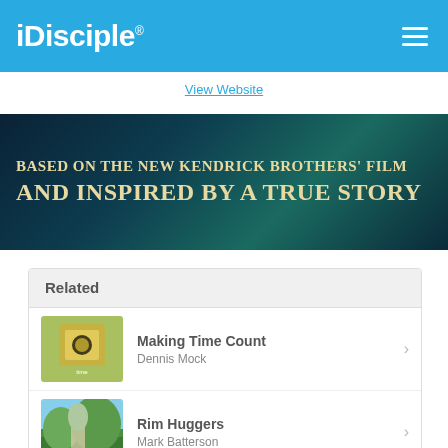iDisciple
View Website
[Figure (illustration): Dark teal/navy banner with gold text: BASED ON THE NEW KENDRICK BROTHERS' FILM AND INSPIRED BY A TRUE STORY]
Related
Making Time Count - Dennis Mock
Rim Huggers - Mark Batterson
How Do I Reach Success? - Cross Church